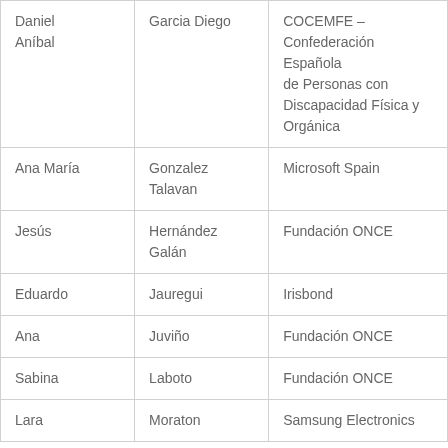| Daniel
Anibal | Garcia Diego | COCEMFE – Confederación Española de Personas con Discapacidad Física y Orgánica |
| Ana María | Gonzalez Talavan | Microsoft Spain |
| Jesús | Hernández Galán | Fundación ONCE |
| Eduardo | Jauregui | Irisbond |
| Ana | Juviño | Fundación ONCE |
| Sabina | Laboto | Fundación ONCE |
| Lara | Moraton | Samsung Electronics |